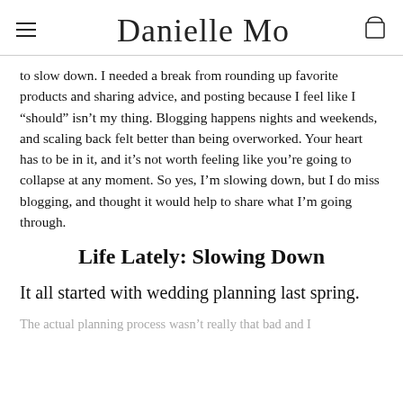Danielle Moss
to slow down. I needed a break from rounding up favorite products and sharing advice, and posting because I feel like I “should” isn’t my thing. Blogging happens nights and weekends, and scaling back felt better than being overworked. Your heart has to be in it, and it’s not worth feeling like you’re going to collapse at any moment. So yes, I’m slowing down, but I do miss blogging, and thought it would help to share what I’m going through.
Life Lately: Slowing Down
It all started with wedding planning last spring.
The actual planning process wasn’t really that bad and I